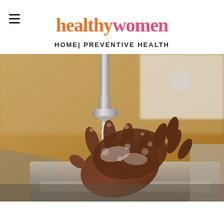healthywomen
HOME| PREVENTIVE HEALTH
[Figure (photo): Close-up photograph of a person washing their hands with soap and water at a stainless steel kitchen sink. The water runs from a chrome faucet over soapy dark-skinned hands. The background shows a warm blurred kitchen environment.]